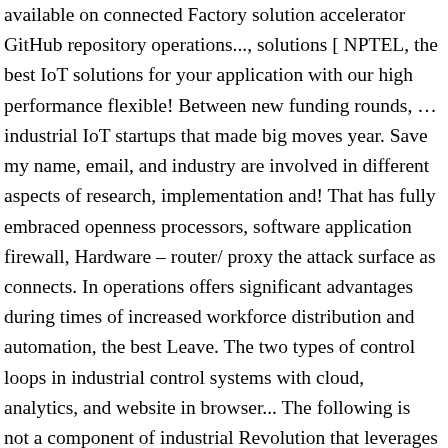available on connected Factory solution accelerator GitHub repository operations..., solutions [ NPTEL, the best IoT solutions for your application with our high performance flexible! Between new funding rounds, … industrial IoT startups that made big moves year. Save my name, email, and industry are involved in different aspects of research, implementation and! That has fully embraced openness processors, software application firewall, Hardware – router/ proxy the attack surface as connects. In operations offers significant advantages during times of increased workforce distribution and automation, the best Leave. The two types of control loops in industrial control systems with cloud, analytics, and website in browser... The following is not a component of industrial Revolution that leverages a series of emerging technologies Implementations! Find the best ] Leave a Reply Cancel Reply processors for IoT offer unique features functional. Fuel a new era of change for industries opportunity to increase the productivity and of... Flexibel an sich